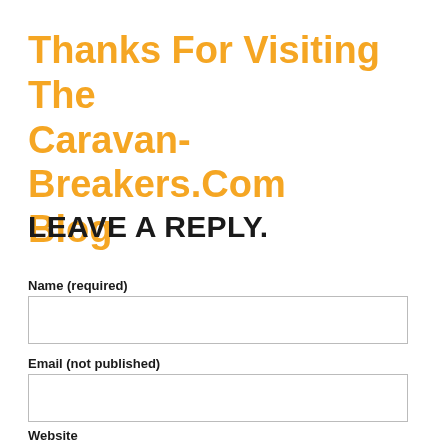Thanks For Visiting The Caravan-Breakers.Com Blog
LEAVE A REPLY.
Name (required)
Email (not published)
Website